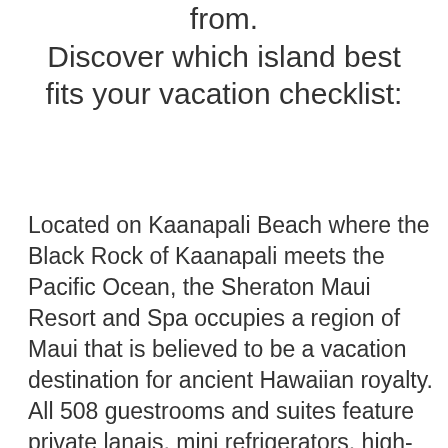from. Discover which island best fits your vacation checklist:
Located on Kaanapali Beach where the Black Rock of Kaanapali meets the Pacific Ocean, the Sheraton Maui Resort and Spa occupies a region of Maui that is believed to be a vacation destination for ancient Hawaiian royalty. All 508 guestrooms and suites feature private lanais, mini refrigerators, high-speed internet access, flat-screen TVs, coffee makers, and air conditioning. The majority of